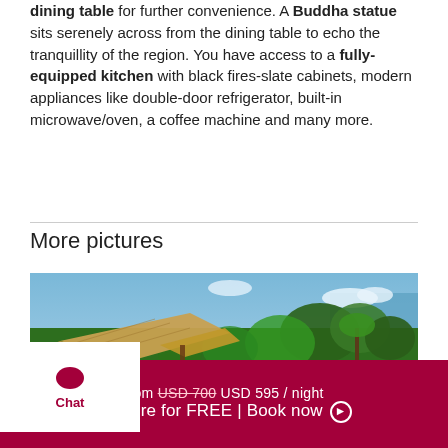dining table for further convenience. A Buddha statue sits serenely across from the dining table to echo the tranquillity of the region. You have access to a fully-equipped kitchen with black fires-slate cabinets, modern appliances like double-door refrigerator, built-in microwave/oven, a coffee machine and many more.
More pictures
[Figure (photo): Aerial view of a tropical villa with a thatched roof, infinity pool surrounded by lush green palm trees and tropical vegetation, white exterior walls, with ocean visible in the background under a blue sky.]
from USD 700 USD 595 / night
Enquire for FREE | Book now